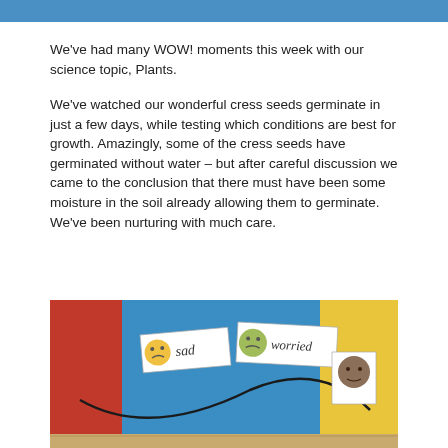We've had many WOW! moments this week with our science topic, Plants.
We've watched our wonderful cress seeds germinate in just a few days, while testing which conditions are best for growth. Amazingly, some of the cress seeds have germinated without water – but after careful discussion we came to the conclusion that there must have been some moisture in the soil already allowing them to germinate. We've been nurturing with much care.
[Figure (photo): A classroom display showing colourful card pockets (red, blue, yellow) with emotion word cards reading 'sad' and 'worried', each accompanied by small illustrated face cards. A curved black line runs through the display. A wooden floor is visible at the bottom.]